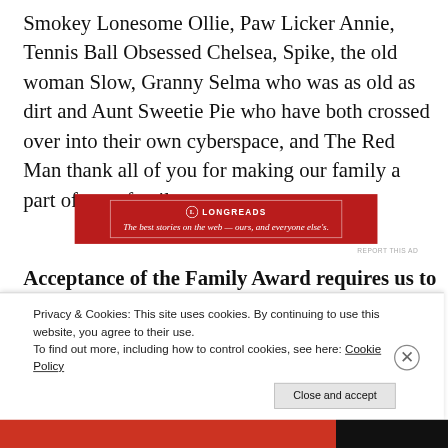Smokey Lonesome Ollie, Paw Licker Annie, Tennis Ball Obsessed Chelsea, Spike, the old woman Slow, Granny Selma who was as old as dirt and Aunt Sweetie Pie who have both crossed over into their own cyberspace, and The Red Man thank all of you for making our family a part of your family.
[Figure (other): Longreads advertisement banner with dark red background. Shows the Longreads logo (circle with L) and tagline: 'The best stories on the web — ours, and everyone else's.']
Acceptance of the Family Award requires us to
Privacy & Cookies: This site uses cookies. By continuing to use this website, you agree to their use.
To find out more, including how to control cookies, see here: Cookie Policy
Close and accept